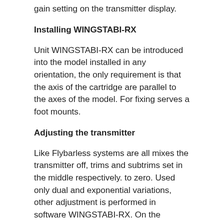gain setting on the transmitter display.
Installing WINGSTABI-RX
Unit WINGSTABI-RX can be introduced into the model installed in any orientation, the only requirement is that the axis of the cartridge are parallel to the axes of the model. For fixing serves a foot mounts.
Adjusting the transmitter
Like Flybarless systems are all mixes the transmitter off, trims and subtrims set in the middle respectively. to zero. Used only dual and exponential variations, other adjustment is performed in software WINGSTABI-RX. On the transmitter assigning four channels and the appropriate drivers for the ailerons, rudder, elevator and throttle, plus one channel with a three-position switch for switching modes WINGSTABI-RX. If you use flight mode 4 (hover on the propeller) is still one channel with two-position